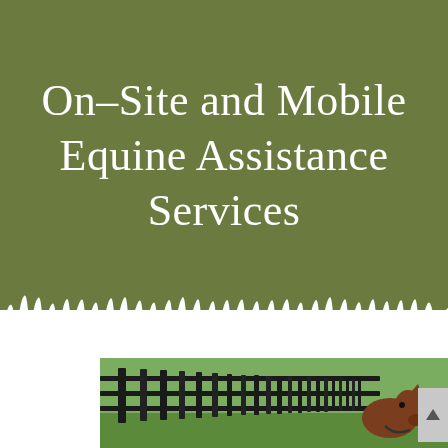On-Site and Mobile Equine Assistance Services
[Figure (photo): Photograph of a horse near a black wooden fence in a green pasture, with grass silhouette decorative element separating the green header from the white area.]